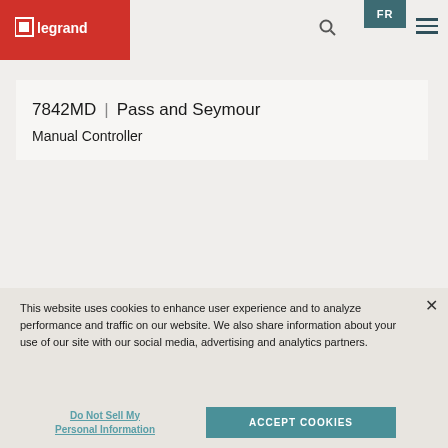[Figure (logo): Legrand logo — white 'L1 legrand' text on red background]
7842MD | Pass and Seymour
Manual Controller
This website uses cookies to enhance user experience and to analyze performance and traffic on our website. We also share information about your use of our site with our social media, advertising and analytics partners.
Do Not Sell My Personal Information
ACCEPT COOKIES